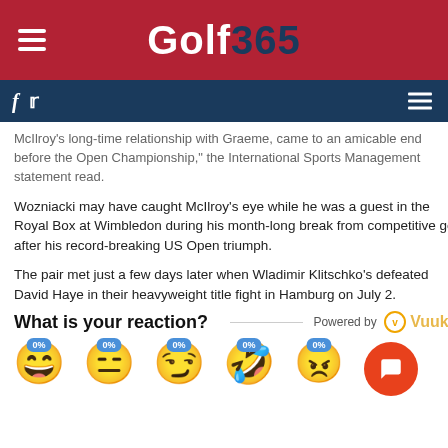Golf365
McIlroy's long-time relationship with Graeme, came to an amicable end before the Open Championship," the International Sports Management statement read.
Wozniacki may have caught McIlroy's eye while he was a guest in the Royal Box at Wimbledon during his month-long break from competitive golf after his record-breaking US Open triumph.
The pair met just a few days later when Wladimir Klitschko's defeated David Haye in their heavyweight title fight in Hamburg on July 2.
What is your reaction?
[Figure (infographic): Emoji reaction widget with 5 emoji faces (happy, neutral, wink, laughing, angry) each showing 0% badge, powered by Vuukle, with orange chat button on the right.]